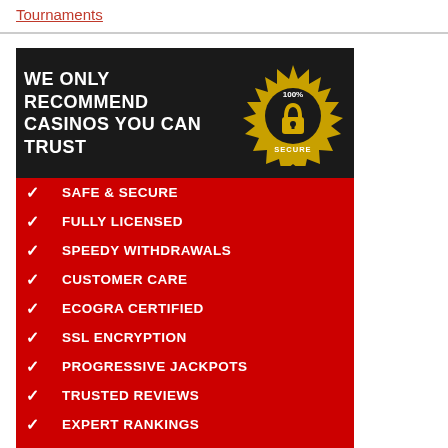Tournaments
[Figure (infographic): Casino trust badge infographic with dark top section reading 'WE ONLY RECOMMEND CASINOS YOU CAN TRUST' with a 100% Secure gold badge, and a red bottom section with checklist items: SAFE & SECURE, FULLY LICENSED, SPEEDY WITHDRAWALS, CUSTOMER CARE, ECOGRA CERTIFIED, SSL ENCRYPTION, PROGRESSIVE JACKPOTS, TRUSTED REVIEWS, EXPERT RANKINGS, TOP SOFTWARE]